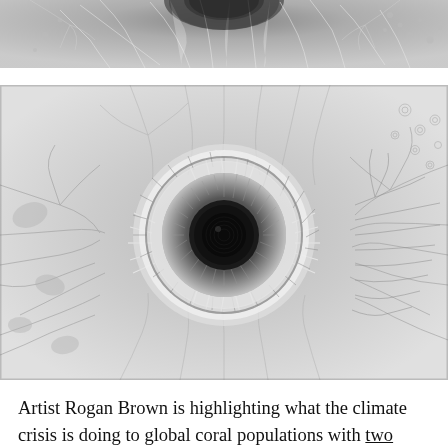[Figure (photo): Partial top view of an intricate coral or biological paper sculpture in black and white, showing fine fibrous textures and organic patterns, cropped at top of page.]
[Figure (photo): Close-up overhead view of an intricate paper sculpture resembling a coral or sea anemone in black and white. A central dark circular eye or opening is surrounded by radiating feathery and branching white paper structures, with detailed filigree patterns extending outward.]
Artist Rogan Brown is highlighting what the climate crisis is doing to global coral populations with two recent delicate and intricate paper sculptures of